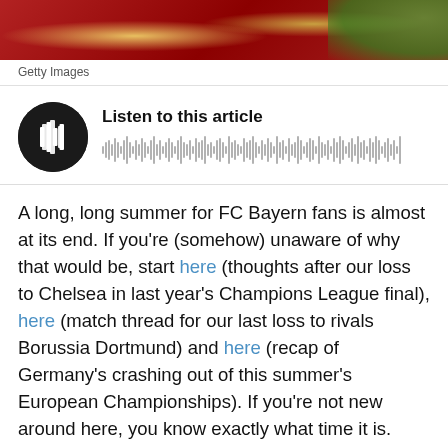[Figure (photo): Partial view of a footballer in red and gold jersey, with green background visible on right]
Getty Images
[Figure (other): Audio player widget with black circular play button and waveform visualization. Title: Listen to this article]
A long, long summer for FC Bayern fans is almost at its end. If you're (somehow) unaware of why that would be, start here (thoughts after our loss to Chelsea in last year's Champions League final), here (match thread for our last loss to rivals Borussia Dortmund) and here (recap of Germany's crashing out of this summer's European Championships). If you're not new around here, you know exactly what time it is. Climb aboard for the preview.